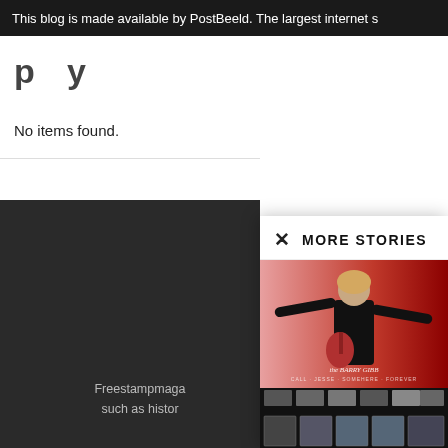This blog is made available by PostBeeld. The largest internet s
p y
No items found.
MORE STORIES
[Figure (photo): Barry Gibb performing on stage with guitar, arms outstretched, on a red background with 'the BARRY GIBB' text overlay, and below a collage of Royal Mail postage stamps featuring various photos of Barry Gibb and the Bee Gees]
Barry Gibb and the Bee Gees
Freestampmagazine - November 16, 2021
Freestampmaga such as histor